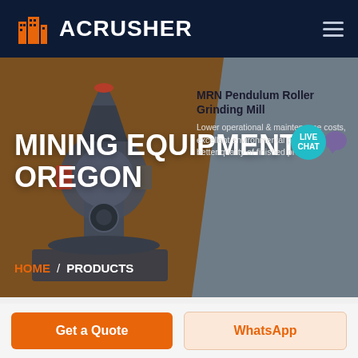ACRUSHER
MINING EQUIPMENT OREGON
MRN Pendulum Roller Grinding Mill
Lower operational & maintenance costs, excellent environmental protection, better quality of finished products
HOME / PRODUCTS
[Figure (screenshot): Live Chat button with teal circular badge and purple chat icon]
[Figure (photo): Industrial mining crusher machine — vertical pendulum roller grinding mill unit in dark blue/grey and red]
Get a Quote
WhatsApp